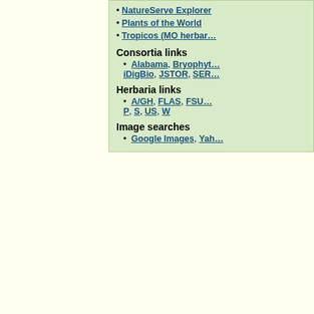NatureServe Explorer
Plants of the World
Tropicos (MO herbar…
Consortia links
Alabama, Bryophyt… iDigBio, JSTOR, SER…
Herbaria links
A/GH, FLAS, FSU… P, S, US, W
Image searches
Google Images, Yah…
Source
| County | Herbaria | Literature Citation (If Applicable) |
| --- | --- | --- |
| Bay | FLAS |  |
| Leon | FLAS |  |
| Miami-Dade | FTG |  |
Synonyms
– Denotes synonyms that are applicable to the state. Show these synonyms only